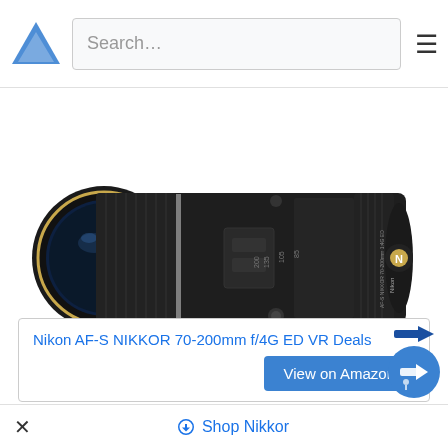Search...
[Figure (photo): Nikon AF-S NIKKOR 70-200mm f/4G ED VR camera lens, black, shown horizontally on white background]
Nikon AF-S NIKKOR 70-200mm f/4G ED VR Deals
View on Amazon
The NIKKOR AF-S 70-200mm f/4G ED VR is a relatively compact and lightweight Nikon 70-200m...
× Shop Nikkor